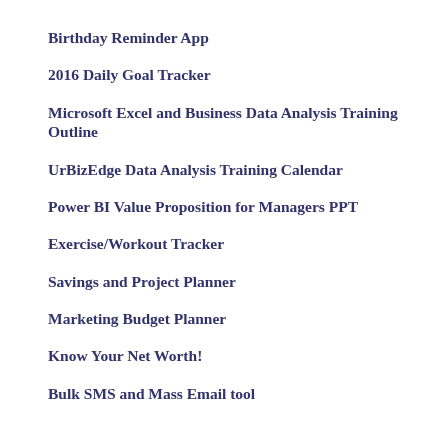Birthday Reminder App
2016 Daily Goal Tracker
Microsoft Excel and Business Data Analysis Training Outline
UrBizEdge Data Analysis Training Calendar
Power BI Value Proposition for Managers PPT
Exercise/Workout Tracker
Savings and Project Planner
Marketing Budget Planner
Know Your Net Worth!
Bulk SMS and Mass Email tool